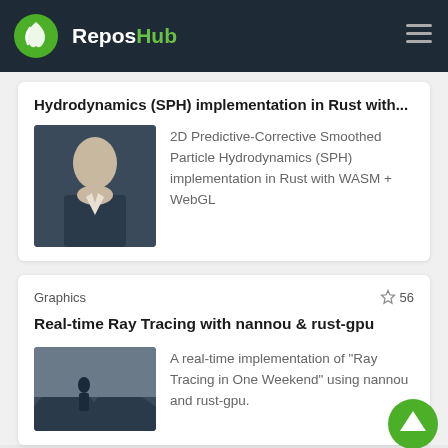ReposHub
Hydrodynamics (SPH) implementation in Rust with...
2D Predictive-Corrective Smoothed Particle Hydrodynamics (SPH) implementation in Rust with WASM + WebGL
Graphics
56
Real-time Ray Tracing with nannou & rust-gpu
A real-time implementation of "Ray Tracing in One Weekend" using nannou and rust-gpu.